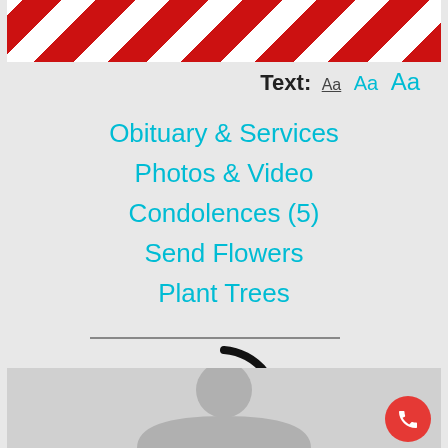[Figure (screenshot): Top banner with red and white diagonal candy stripe pattern]
Text: Aa Aa Aa
Obituary & Services
Photos & Video
Condolences (5)
Send Flowers
Plant Trees
[Figure (illustration): Loading spinner arc (partial circle outline, dark)]
[Figure (photo): Bottom gray section with a gray silhouette profile placeholder image and a red phone call button in the bottom right corner]